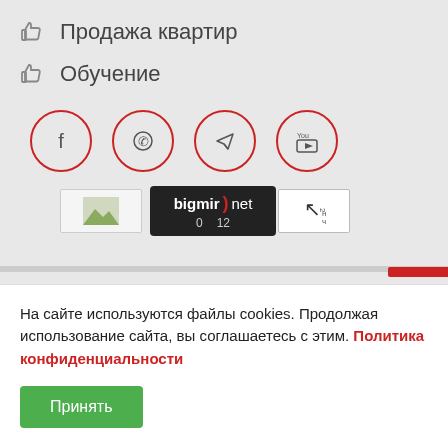👍 Продажа квартир
👍 Обучение
[Figure (other): Social media icon circles: Facebook, WhatsApp, Telegram, YouTube]
[Figure (other): Website badges: image placeholder, bigmir.net counter showing 0 and 12, back arrow counter badge]
На сайте используются файлы cookies. Продолжая использование сайта, вы соглашаетесь с этим. Политика конфиденциальности
Принять